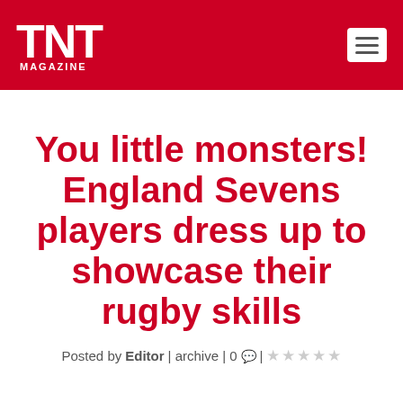TNT MAGAZINE
You little monsters! England Sevens players dress up to showcase their rugby skills
Posted by Editor | archive | 0 💬 | ☆☆☆☆☆